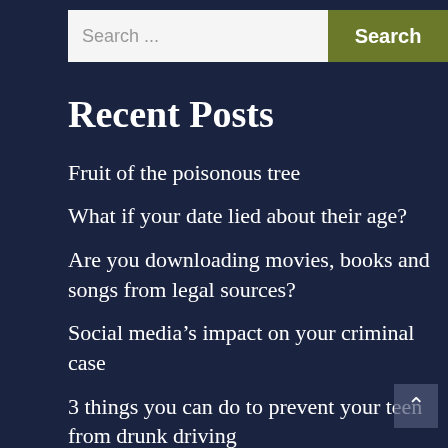Search ...   Search
Recent Posts
Fruit of the poisonous tree
What if your date lied about their age?
Are you downloading movies, books and songs from legal sources?
Social media’s impact on your criminal case
3 things you can do to prevent your teen from drunk driving
Archives